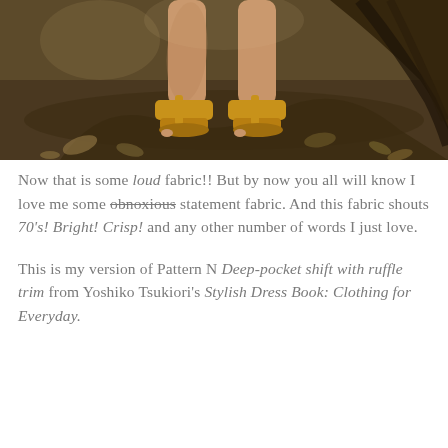[Figure (photo): Close-up photo of a person's legs and feet wearing mustard yellow strappy sandals, standing on a forest floor with roots, dirt, and fallen leaves in the background.]
Now that is some loud fabric!! But by now you all will know I love me some obnoxious statement fabric. And this fabric shouts 70's! Bright! Crisp! and any other number of words I just love.
This is my version of Pattern N Deep-pocket shift with ruffle trim from Yoshiko Tsukiori's Stylish Dress Book: Clothing for Everyday.